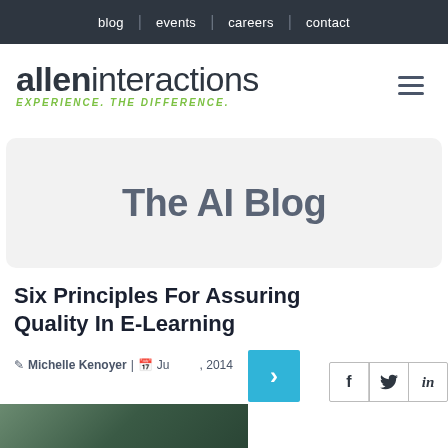blog | events | careers | contact
[Figure (logo): Allen Interactions logo with tagline EXPERIENCE. THE DIFFERENCE.]
The AI Blog
Six Principles For Assuring Quality In E-Learning
Michelle Kenoyer | June [date], 2014